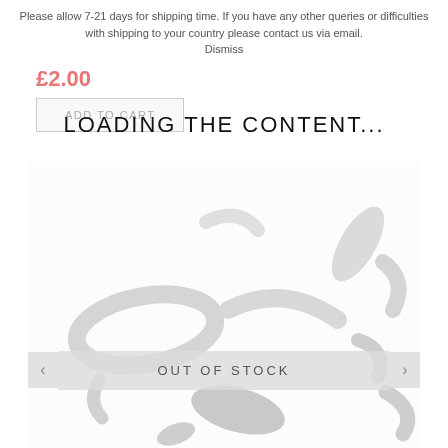Please allow 7-21 days for shipping time. If you have any other queries or difficulties with shipping to your country please contact us via email. Dismiss
£2.00
ADD TO CART
LOADING THE CONTENT...
[Figure (photo): Product photo showing multiple small black/dark oval and curved plastic or acrylic beads/links scattered on a white surface, with a faded/washed out appearance.]
OUT OF STOCK